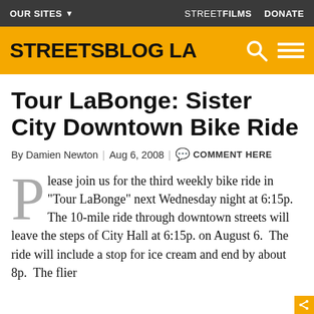OUR SITES ▾   STREETFILMS   DONATE
STREETSBLOG LA
Tour LaBonge: Sister City Downtown Bike Ride
By Damien Newton | Aug 6, 2008 | COMMENT HERE
Please join us for the third weekly bike ride in "Tour LaBonge" next Wednesday night at 6:15p. The 10-mile ride through downtown streets will leave the steps of City Hall at 6:15p. on August 6. The ride will include a stop for ice cream and end by about 8p. The flier